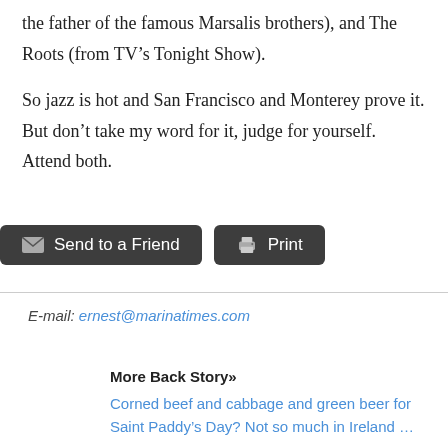the father of the famous Marsalis brothers), and The Roots (from TV’s Tonight Show).
So jazz is hot and San Francisco and Monterey prove it. But don’t take my word for it, judge for yourself. Attend both.
[Figure (other): Two dark buttons: 'Send to a Friend' with envelope icon, and 'Print' with printer icon]
E-mail: ernest@marinatimes.com
More Back Story»
Corned beef and cabbage and green beer for Saint Paddy’s Day? Not so much in Ireland …